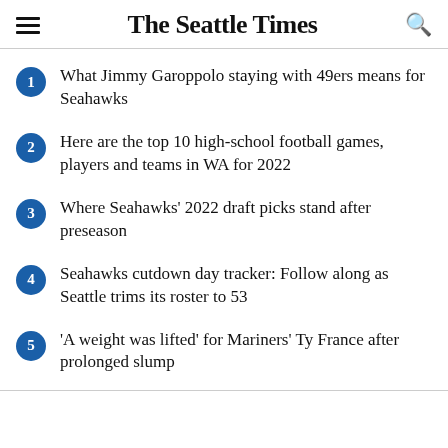The Seattle Times
What Jimmy Garoppolo staying with 49ers means for Seahawks
Here are the top 10 high-school football games, players and teams in WA for 2022
Where Seahawks' 2022 draft picks stand after preseason
Seahawks cutdown day tracker: Follow along as Seattle trims its roster to 53
'A weight was lifted' for Mariners' Ty France after prolonged slump